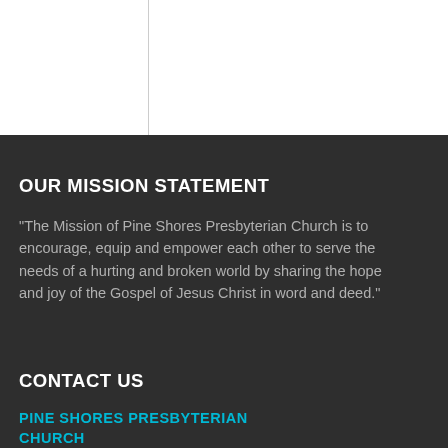[Figure (other): White top bar area with vertical border lines suggesting a page header or navigation region]
OUR MISSION STATEMENT
“The Mission of Pine Shores Presbyterian Church is to encourage, equip and empower each other to serve the needs of a hurting and broken world by sharing the hope and joy of the Gospel of Jesus Christ in word and deed.”
CONTACT US
PINE SHORES PRESBYTERIAN CHURCH